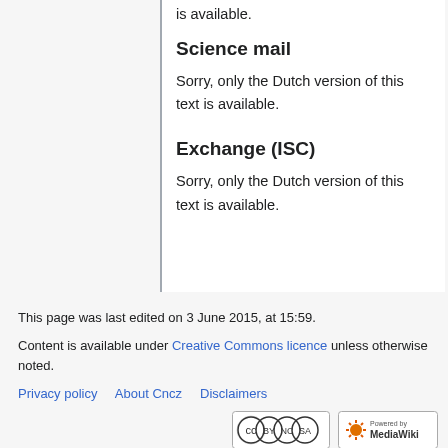is available.
Science mail
Sorry, only the Dutch version of this text is available.
Exchange (ISC)
Sorry, only the Dutch version of this text is available.
This page was last edited on 3 June 2015, at 15:59.
Content is available under Creative Commons licence unless otherwise noted.
Privacy policy   About Cncz   Disclaimers